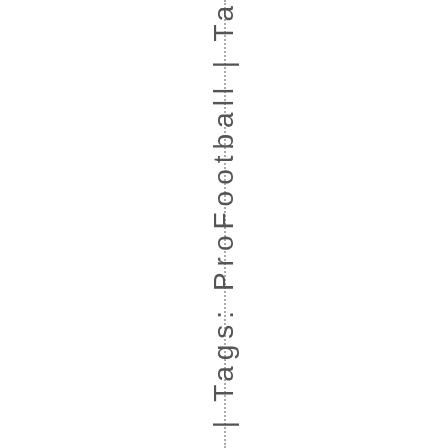n. 2022 | Tags: ProFootball | Ta
[Figure (other): Vertical dotted line running down the center of the page]